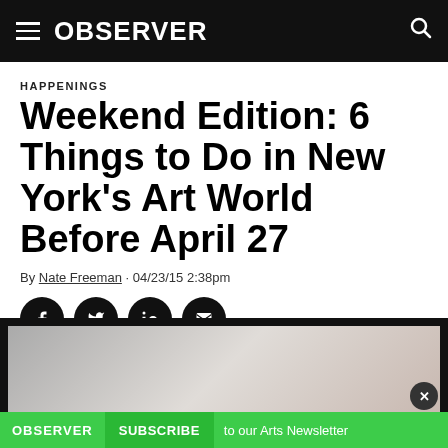OBSERVER
HAPPENINGS
Weekend Edition: 6 Things to Do in New York's Art World Before April 27
By Nate Freeman · 04/23/15 2:38pm
[Figure (infographic): Four circular black social sharing buttons: Facebook (f), Twitter (bird), LinkedIn (in), Email (envelope)]
[Figure (photo): Partial image with black border and gray gradient interior, with Observer subscribe newsletter banner overlay at the bottom showing 'OBSERVER', 'SUBSCRIBE', and 'to our Arts Newsletter' on a green background with an X close button]